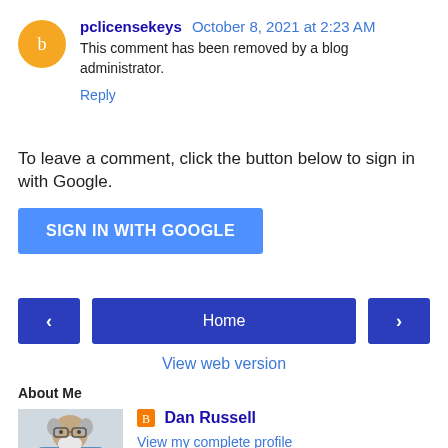pclicensekeys October 8, 2021 at 2:23 AM
This comment has been removed by a blog administrator.
Reply
To leave a comment, click the button below to sign in with Google.
SIGN IN WITH GOOGLE
[Figure (screenshot): Navigation bar with back arrow, Home button, and forward arrow]
View web version
About Me
[Figure (photo): Profile photo of Dan Russell, older man with white beard and glasses]
Dan Russell
View my complete profile